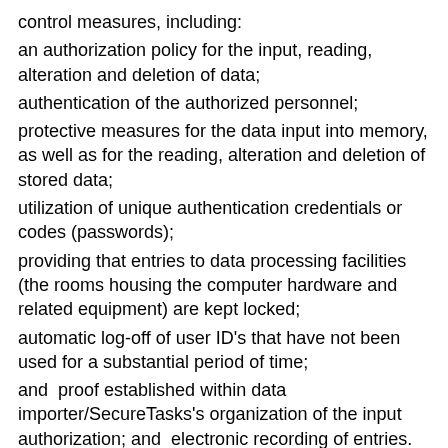control measures, including:
an authorization policy for the input, reading, alteration and deletion of data;
authentication of the authorized personnel;
protective measures for the data input into memory, as well as for the reading, alteration and deletion of stored data;
utilization of unique authentication credentials or codes (passwords);
providing that entries to data processing facilities (the rooms housing the computer hardware and related equipment) are kept locked;
automatic log-off of user ID's that have not been used for a substantial period of time;
and  proof established within data importer/SecureTasks's organization of the input authorization; and  electronic recording of entries.
Separation of Processing for different Purposes